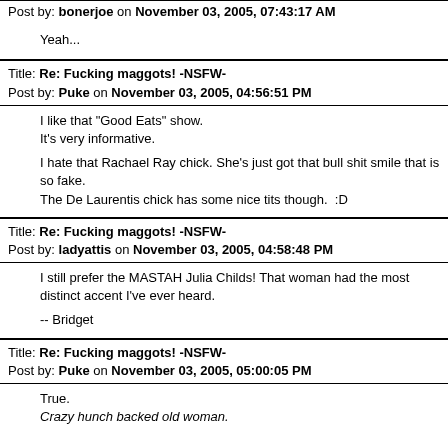Post by: bonerjoe on November 03, 2005, 07:43:17 AM
Yeah...
Title: Re: Fucking maggots! -NSFW-
Post by: Puke on November 03, 2005, 04:56:51 PM
I like that "Good Eats" show.
It's very informative.

I hate that Rachael Ray chick. She's just got that bull shit smile that is so fake.
The De Laurentis chick has some nice tits though.  :D
Title: Re: Fucking maggots! -NSFW-
Post by: ladyattis on November 03, 2005, 04:58:48 PM
I still prefer the MASTAH Julia Childs! That woman had the most distinct accent I've ever heard.

-- Bridget
Title: Re: Fucking maggots! -NSFW-
Post by: Puke on November 03, 2005, 05:00:05 PM
True.
Crazy hunch backed old woman.